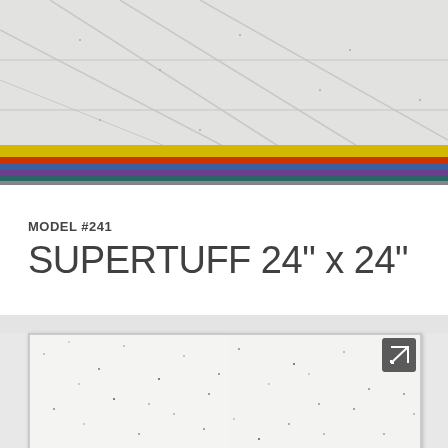[Figure (photo): Ceiling tile installation photo showing white acoustic ceiling tiles with colorful grid rails (yellow, red, blue, purple) viewed from below at an angle.]
MODEL #241
SUPERTUFF 24" x 24"
[Figure (photo): Close-up photo of a white acoustic ceiling tile showing a textured, slightly speckled surface with a thin border frame, with an expand/resize icon in the top-right corner.]